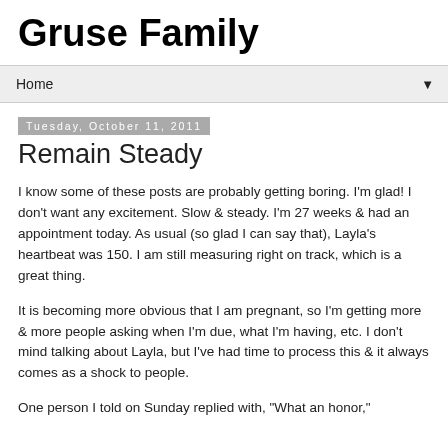Gruse Family
Home
Tuesday, October 11, 2011
Remain Steady
I know some of these posts are probably getting boring. I'm glad! I don't want any excitement. Slow & steady. I'm 27 weeks & had an appointment today. As usual (so glad I can say that), Layla's heartbeat was 150. I am still measuring right on track, which is a great thing.
It is becoming more obvious that I am pregnant, so I'm getting more & more people asking when I'm due, what I'm having, etc. I don't mind talking about Layla, but I've had time to process this & it always comes as a shock to people.
One person I told on Sunday replied with, "What an honor,"